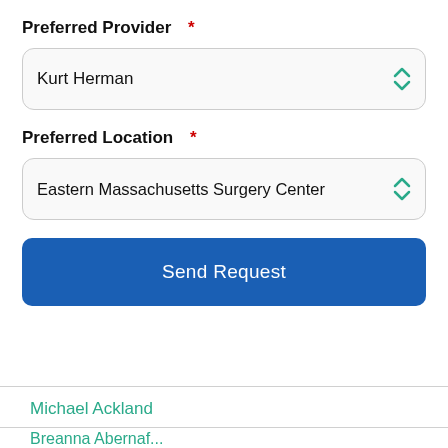Preferred Provider *
Kurt Herman
Preferred Location *
Eastern Massachusetts Surgery Center
Send Request
Michael Ackland
Breanna Abernaf...